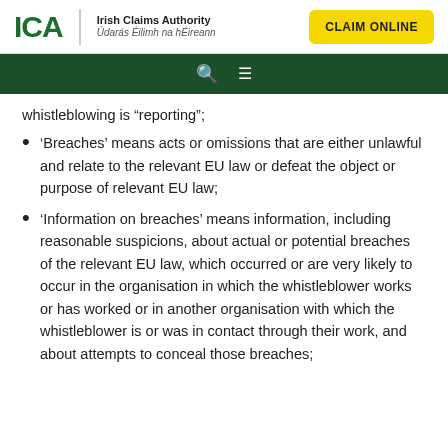ICA | Irish Claims Authority | Údarás Éilimh na hÉireann | CLAIM ONLINE
whistleblowing is “reporting”;
'Breaches' means acts or omissions that are either unlawful and relate to the relevant EU law or defeat the object or purpose of relevant EU law;
'Information on breaches' means information, including reasonable suspicions, about actual or potential breaches of the relevant EU law, which occurred or are very likely to occur in the organisation in which the whistleblower works or has worked or in another organisation with which the whistleblower is or was in contact through their work, and about attempts to conceal those breaches;